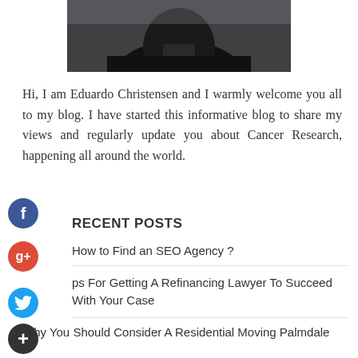[Figure (photo): Partial photo of a person (Eduardo Christensen) in dark clothing, cropped showing torso/upper body area against a light background]
Hi, I am Eduardo Christensen and I warmly welcome you all to my blog. I have started this informative blog to share my views and regularly update you about Cancer Research, happening all around the world.
RECENT POSTS
How to Find an SEO Agency ?
Tips For Getting A Refinancing Lawyer To Succeed With Your Case
Why You Should Consider A Residential Moving Palmdale